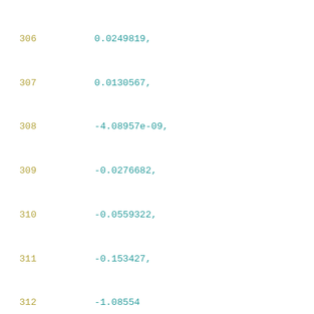306    0.0249819,
307    0.0130567,
308    -4.08957e-09,
309    -0.0276682,
310    -0.0559322,
311    -0.153427,
312    -1.08554
313    ],
314    [
315    2.0994,
316    0.210769,
317    0.0856077,
318    0.0839272,
319    0.0821672,
320    0.0812299,
321    0.0802466,
322    0.0792097,
323    0.0781099,
324    0.0769349,
325    0.0756688,
326    0.0742901,